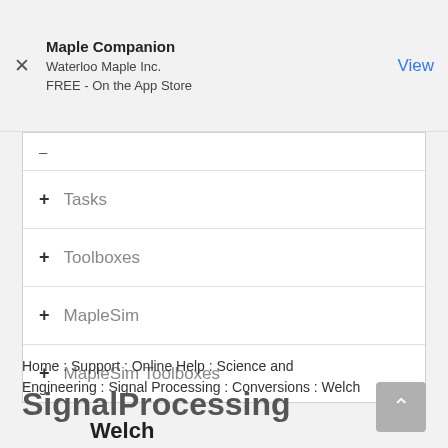Maple Companion
Waterloo Maple Inc.
FREE - On the App Store
+ Tasks
+ Toolboxes
+ MapleSim
+ MapleSim Toolboxes
Home : Support : Online Help : Science and Engineering : Signal Processing : Conversions : Welch
SignalProcessing
Welch